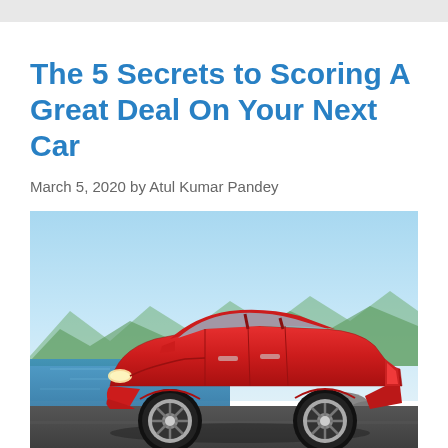The 5 Secrets to Scoring A Great Deal On Your Next Car
March 5, 2020 by Atul Kumar Pandey
[Figure (photo): Side profile of a red hatchback car (Maruti Suzuki Swift) parked on a coastal road with mountains and sea in the background under a blue sky.]